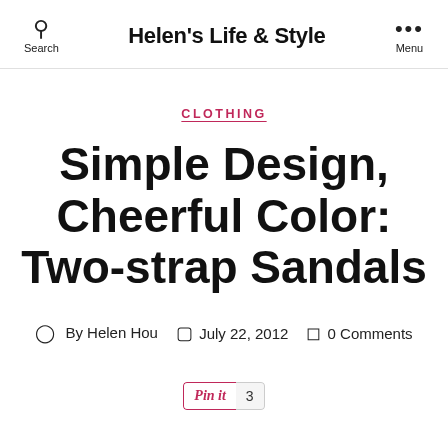Helen's Life & Style
CLOTHING
Simple Design, Cheerful Color: Two-strap Sandals
By Helen Hou  July 22, 2012  0 Comments
[Figure (other): Pinterest Pin It button with count of 3]